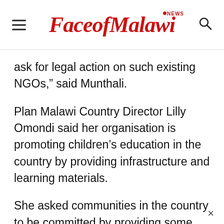FaceofMalawi NEWS
ask for legal action on such existing NGOs,” said Munthali.
Plan Malawi Country Director Lilly Omondi said her organisation is promoting children’s education in the country by providing infrastructure and learning materials.
She asked communities in the country to be committed by providing some local